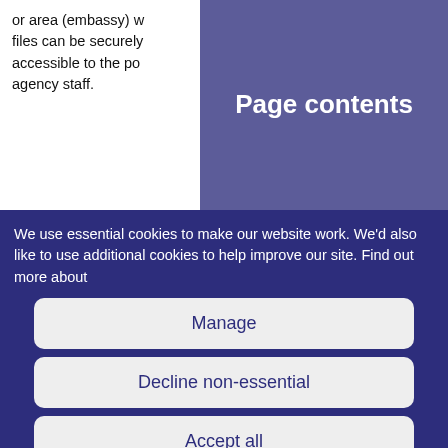or area (embassy) w... files can be securely accessible to the po... agency staff.
Page contents
We use essential cookies to make our website work. We'd also like to use additional cookies to help improve our site. Find out more about
Manage
Decline non-essential
Accept all